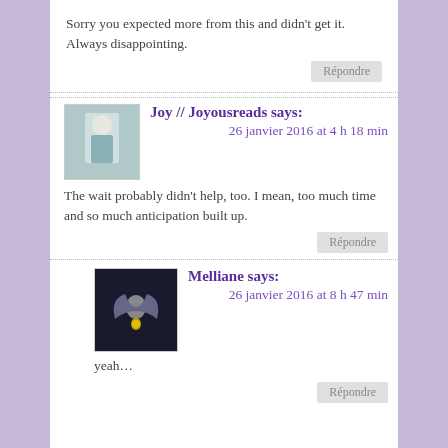Sorry you expected more from this and didn't get it. Always disappointing.
Répondre
Joy // Joyousreads says:
26 janvier 2016 at 4 h 18 min
The wait probably didn't help, too. I mean, too much time and so much anticipation built up.
Répondre
Melliane says:
26 janvier 2016 at 8 h 47 min
yeah…
Répondre